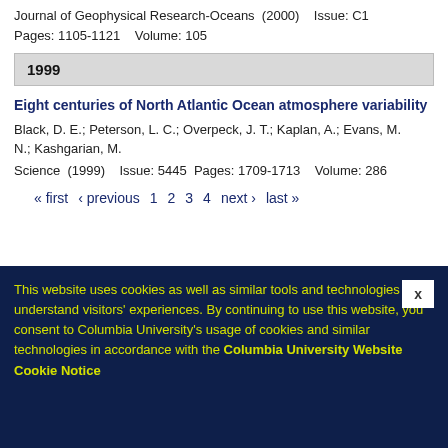Journal of Geophysical Research-Oceans  (2000)    Issue: C1
Pages: 1105-1121    Volume: 105
1999
Eight centuries of North Atlantic Ocean atmosphere variability
Black, D. E.; Peterson, L. C.; Overpeck, J. T.; Kaplan, A.; Evans, M. N.; Kashgarian, M.
Science  (1999)    Issue: 5445  Pages: 1709-1713    Volume: 286
« first  ‹ previous  1  2  3  4  next ›  last »
This website uses cookies as well as similar tools and technologies to understand visitors' experiences. By continuing to use this website, you consent to Columbia University's usage of cookies and similar technologies in accordance with the Columbia University Website Cookie Notice